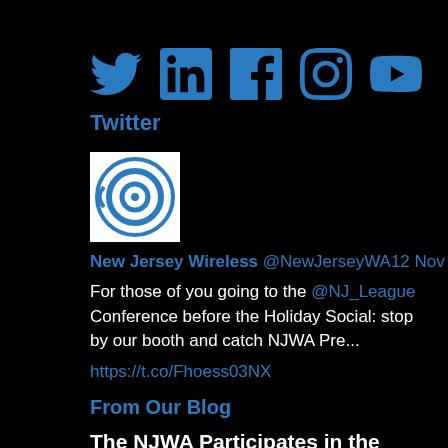[Figure (illustration): Social media icons: Twitter bird, LinkedIn 'in', Facebook 'f', Instagram camera, YouTube logo — all in blue on black background]
Twitter
[Figure (photo): New Jersey Wireless Association profile picture: circular logo on white background]
New Jersey Wireless @NewJerseyWA12 Nov
For those of you going to the @NJ_League Conference before the Holiday Social: stop by our booth and catch NJWA Pre...
https://t.co/Fhoess03NX
From Our Blog
The NJWA Participates in the SEEDS Summer Capstone Series